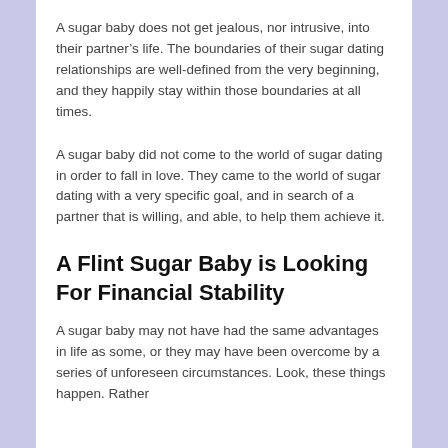A sugar baby does not get jealous, nor intrusive, into their partner’s life. The boundaries of their sugar dating relationships are well-defined from the very beginning, and they happily stay within those boundaries at all times.
A sugar baby did not come to the world of sugar dating in order to fall in love. They came to the world of sugar dating with a very specific goal, and in search of a partner that is willing, and able, to help them achieve it.
A Flint Sugar Baby is Looking For Financial Stability
A sugar baby may not have had the same advantages in life as some, or they may have been overcome by a series of unforeseen circumstances. Look, these things happen. Rather